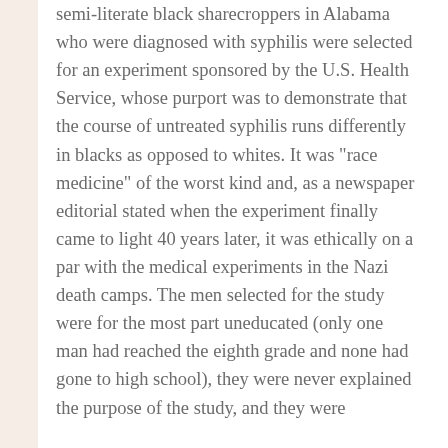semi-literate black sharecroppers in Alabama who were diagnosed with syphilis were selected for an experiment sponsored by the U.S. Health Service, whose purport was to demonstrate that the course of untreated syphilis runs differently in blacks as opposed to whites. It was "race medicine" of the worst kind and, as a newspaper editorial stated when the experiment finally came to light 40 years later, it was ethically on a par with the medical experiments in the Nazi death camps. The men selected for the study were for the most part uneducated (only one man had reached the eighth grade and none had gone to high school), they were never explained the purpose of the study, and they were